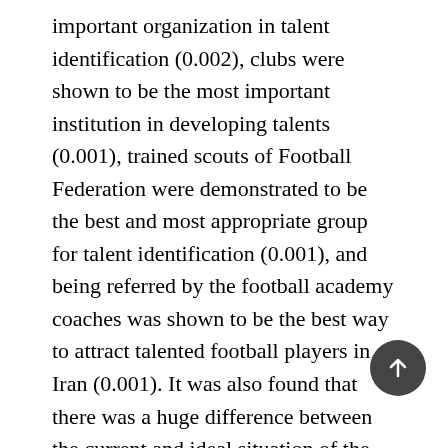important organization in talent identification (0.002), clubs were shown to be the most important institution in developing talents (0.001), trained scouts of Football Federation were demonstrated to be the best and most appropriate group for talent identification (0.001), and being referred by the football academy coaches was shown to be the best way to attract talented football players in Iran (0.001). It was also found that there was a huge difference between the current and ideal situation of the process of talent identification in Iranian football from the point of view of Iranian instructors of the AFC. Hence, it is recommended that the policy makers of talent identification for Iranian football provide a comprehensive, clear and systematic model of talent identification and development processes for the clubs and football teams, so that the talent identification process helps to nurture football talents more